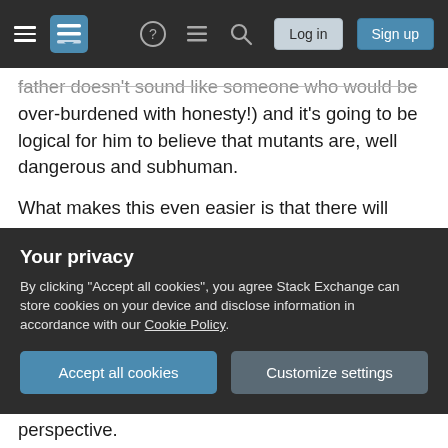Stack Exchange navigation bar with hamburger menu, logo, help, chat, search icons, Log in and Sign up buttons
father doesn't sound like someone who would be over-burdened with honesty!) and it's going to be logical for him to believe that mutants are, well dangerous and subhuman.
What makes this even easier is that there will almost certainly have been rebellions, coup attempts and the like over the years.. say there was an attempt by mutants to bomb his father's car (or plane, or spaceship etc) a few years earlier. From Analise's perspective these mutants were freedom fighters, trying to remove an evil dictator and free
Your privacy
By clicking "Accept all cookies", you agree Stack Exchange can store cookies on your device and disclose information in accordance with our Cookie Policy.
Accept all cookies
Customize settings
perspective.